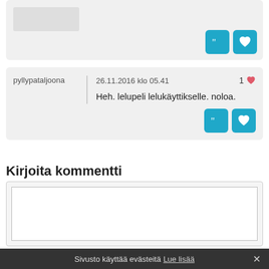[Figure (screenshot): Partial top comment card with user avatar placeholder and action buttons (quote and like) in teal]
pyllypataljoona
26.11.2016 klo 05.41
1 ♥
Heh. lelupeli lelukäyttikselle. noloa.
Kirjoita kommentti
[Figure (screenshot): Empty text area for writing a comment inside a light grey box with border]
Sivusto käyttää evästeitä Lue lisää ✕